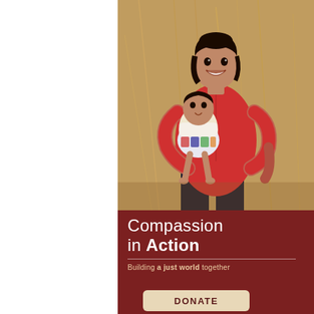[Figure (photo): A smiling woman in a red shirt holding a young child wearing a colorful dress, standing in front of a dry hay/straw background outdoors.]
Compassion in Action
Building a just world together
DONATE